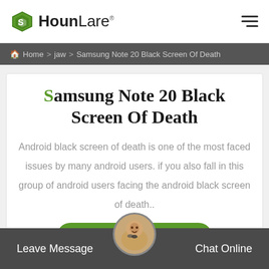HounLare
Home > jaw > Samsung Note 20 Black Screen Of Death
Samsung Note 20 Black Screen Of Death
Android black screen of death is one of the most faced issues by many android users. if you also fall in this group of android users facing the android black screen of death..
Request Quote
Leave Message | Chat Online